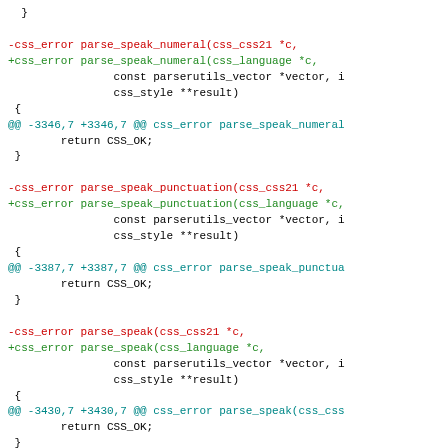}
-css_error parse_speak_numeral(css_css21 *c,
+css_error parse_speak_numeral(css_language *c,
                const parserutils_vector *vector, i
                css_style **result)
 {
@@ -3346,7 +3346,7 @@ css_error parse_speak_numeral
        return CSS_OK;
 }
-css_error parse_speak_punctuation(css_css21 *c,
+css_error parse_speak_punctuation(css_language *c,
                const parserutils_vector *vector, i
                css_style **result)
 {
@@ -3387,7 +3387,7 @@ css_error parse_speak_punctua
        return CSS_OK;
 }
-css_error parse_speak(css_css21 *c,
+css_error parse_speak(css_language *c,
                const parserutils_vector *vector, i
                css_style **result)
 {
@@ -3430,7 +3430,7 @@ css_error parse_speak(css_css
        return CSS_OK;
 }
-css_error parse_speech_rate(css_css21 *c,